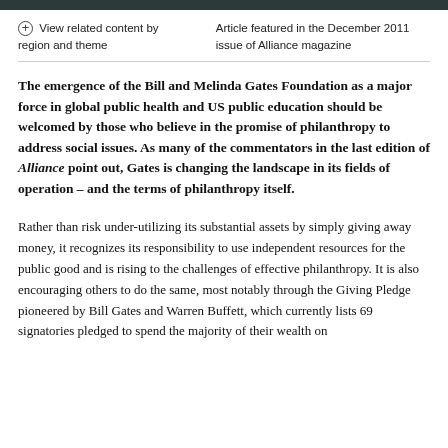⊕ View related content by region and theme | Article featured in the December 2011 issue of Alliance magazine
The emergence of the Bill and Melinda Gates Foundation as a major force in global public health and US public education should be welcomed by those who believe in the promise of philanthropy to address social issues. As many of the commentators in the last edition of Alliance point out, Gates is changing the landscape in its fields of operation – and the terms of philanthropy itself.
Rather than risk under-utilizing its substantial assets by simply giving away money, it recognizes its responsibility to use independent resources for the public good and is rising to the challenges of effective philanthropy. It is also encouraging others to do the same, most notably through the Giving Pledge pioneered by Bill Gates and Warren Buffett, which currently lists 69 signatories pledged to spend the majority of their wealth on